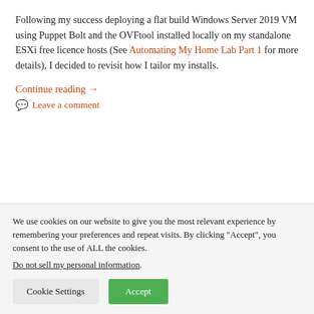Following my success deploying a flat build Windows Server 2019 VM using Puppet Bolt and the OVFtool installed locally on my standalone ESXi free licence hosts (See Automating My Home Lab Part 1 for more details), I decided to revisit how I tailor my installs.
Continue reading →
Leave a comment
We use cookies on our website to give you the most relevant experience by remembering your preferences and repeat visits. By clicking "Accept", you consent to the use of ALL the cookies.
Do not sell my personal information.